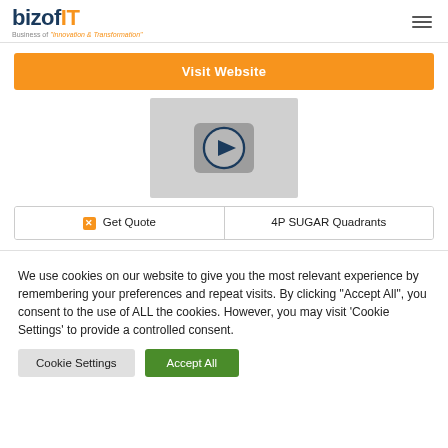[Figure (logo): bizofit logo with cloud graphic and tagline: Business of Innovation & Transformation]
Visit Website
[Figure (screenshot): Video thumbnail player with play button icon on grey background]
Get Quote
4P SUGAR Quadrants
We use cookies on our website to give you the most relevant experience by remembering your preferences and repeat visits. By clicking "Accept All", you consent to the use of ALL the cookies. However, you may visit 'Cookie Settings' to provide a controlled consent.
Cookie Settings
Accept All